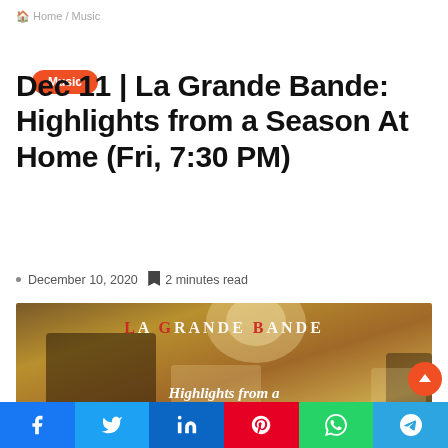Home / Music
Music
Dec 11 | La Grande Bande: Highlights from a Season At Home (Fri, 7:30 PM)
December 10, 2020  2 minutes read
[Figure (photo): Musicians in a church or concert hall playing violin and other instruments while wearing masks, with text overlay 'LA GRANDE BANDE' and 'Highlights from a Season At Home']
Social share bar: Facebook, Twitter, LinkedIn, Pinterest, WhatsApp, Telegram